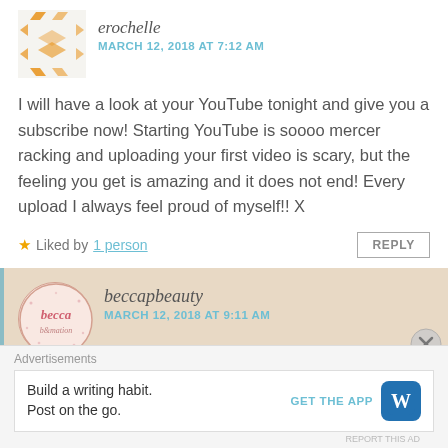[Figure (illustration): User avatar for erochelle — orange geometric arrow/chevron pattern on light background]
erochelle
MARCH 12, 2018 AT 7:12 AM
I will have a look at your YouTube tonight and give you a subscribe now! Starting YouTube is soooo mercer racking and uploading your first video is scary, but the feeling you get is amazing and it does not end! Every upload I always feel proud of myself!! X
★ Liked by 1 person
REPLY
[Figure (illustration): User avatar for beccapbeauty — circular logo with pink 'becca' text on light pink/cream background with small dots]
beccapbeauty
MARCH 12, 2018 AT 9:11 AM
Advertisements
Build a writing habit.
Post on the go.
GET THE APP
[Figure (logo): WordPress app icon — blue rounded square with white W logo]